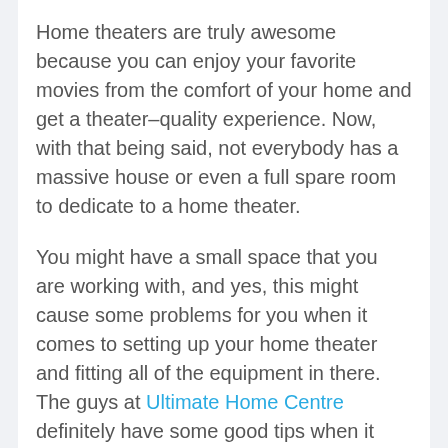Home theaters are truly awesome because you can enjoy your favorite movies from the comfort of your home and get a theater-quality experience. Now, with that being said, not everybody has a massive house or even a full spare room to dedicate to a home theater.
You might have a small space that you are working with, and yes, this might cause some problems for you when it comes to setting up your home theater and fitting all of the equipment in there. The guys at Ultimate Home Centre definitely have some good tips when it comes to this kind of thing. For now, let's go over 6 tips for building an awesome home theater is a small space. The space might not